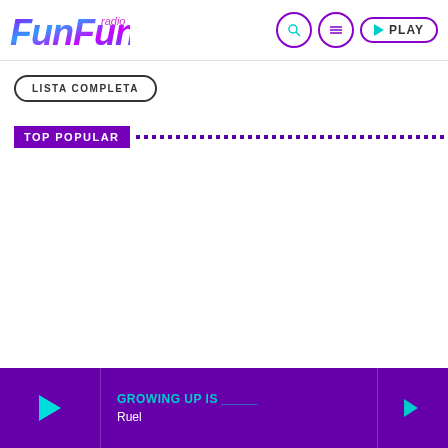FunFun Radio - PLAY
LISTA COMPLETA
TOP POPULAR
GROWING UP IS _____ - Ruel